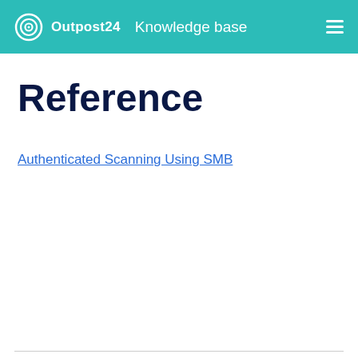Outpost24  Knowledge base
Reference
Authenticated Scanning Using SMB